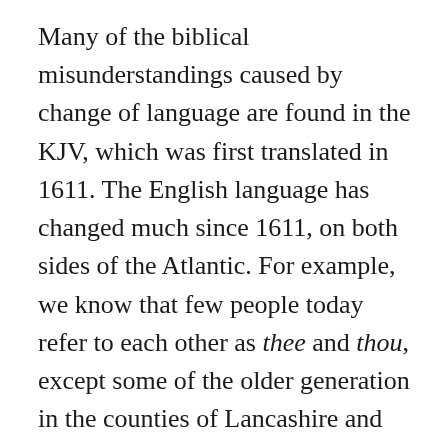Many of the biblical misunderstandings caused by change of language are found in the KJV, which was first translated in 1611. The English language has changed much since 1611, on both sides of the Atlantic. For example, we know that few people today refer to each other as thee and thou, except some of the older generation in the counties of Lancashire and Yorkshire in Northern England. The KJV uses this terminology to address God, and we can mistakenly think that this is a term of respect. In fact, the use of thou is much more specific. It is used to refer to a close friend or relative. In a